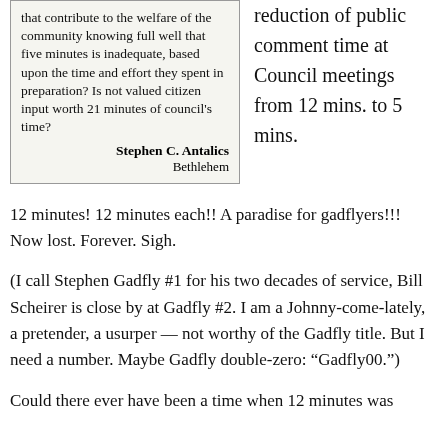[Figure (other): Newspaper clipping showing a letter to the editor. Text reads: 'that contribute to the welfare of the community knowing full well that five minutes is inadequate, based upon the time and effort they spent in preparation? Is not valued citizen input worth 21 minutes of council's time?' Signed: Stephen C. Antalics, Bethlehem]
reduction of public comment time at Council meetings from 12 mins. to 5 mins.
12 minutes! 12 minutes each!! A paradise for gadflyers!!! Now lost. Forever. Sigh.
(I call Stephen Gadfly #1 for his two decades of service, Bill Scheirer is close by at Gadfly #2. I am a Johnny-come-lately, a pretender, a usurper — not worthy of the Gadfly title. But I need a number. Maybe Gadfly double-zero: “Gadfly00.”)
Could there ever have been a time when 12 minutes was